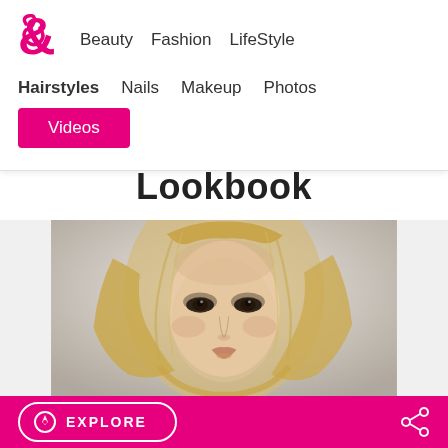Beauty | Fashion | LifeStyle | Hairstyles | Nails | Makeup | Photos | Videos
Lookbook
[Figure (photo): Close-up portrait of a blonde woman with tousled wavy hair, smoky eye makeup, looking intensely at camera against a light grey/white background]
EXPLORE | Share